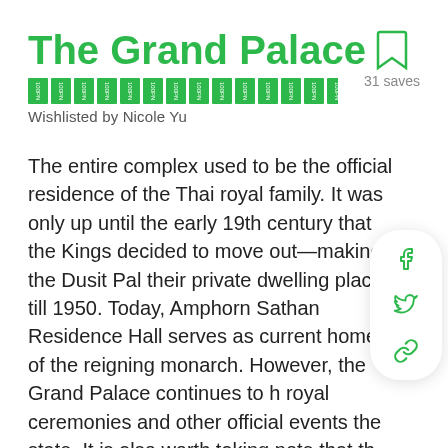The Grand Palace
[Figure (other): Row of green Thai script boxes]
Wishlisted by Nicole Yu
[Figure (other): Bookmark icon with 31 saves]
The entire complex used to be the official residence of the Thai royal family. It was only up until the early 19th century that the Kings decided to move out—making the Dusit Palace their private dwelling place till 1950. Today, the Amphorn Sathan Residence Hall serves as the current home of the reigning monarch. However, the Grand Palace continues to host royal ceremonies and other official events of the state. It is also worth taking note that the most sacred Buddhist temple in Thailand, the Temple of the Emerald Buddha or the Wat Phra Si Rattana Satsadaram, could be found within the palace grounds!
[Figure (other): Social share panel with Facebook, Twitter, and link copy icons]